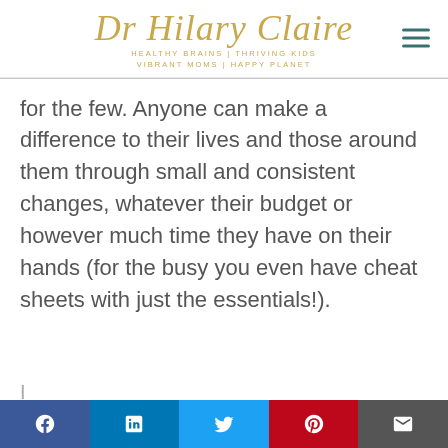Dr Hilary Claire | HEALTHY BRAINS | THRIVING KIDS | VIBRANT MOMS | HAPPY PLANET
for the few. Anyone can make a difference to their lives and those around them through small and consistent changes, whatever their budget or however much time they have on their hands (for the busy you even have cheat sheets with just the essentials!).
Social share bar: Facebook, LinkedIn, Twitter, Pinterest, Email